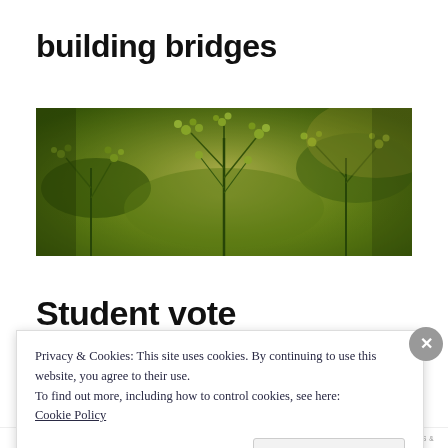building bridges
[Figure (photo): Close-up photograph of green feathery plant foliage (possibly moss or fern) with a warm, blurred background]
Student vote
Privacy & Cookies: This site uses cookies. By continuing to use this website, you agree to their use.
To find out more, including how to control cookies, see here:
Cookie Policy
Close and accept